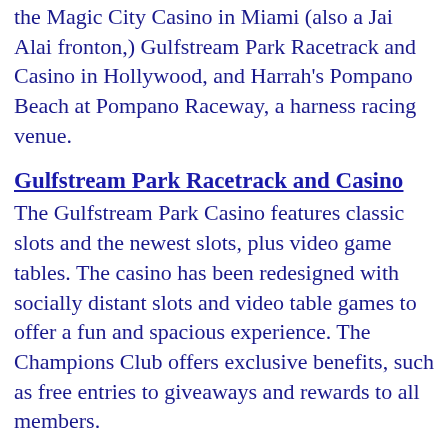the Magic City Casino in Miami (also a Jai Alai fronton,) Gulfstream Park Racetrack and Casino in Hollywood, and Harrah's Pompano Beach at Pompano Raceway, a harness racing venue.
Gulfstream Park Racetrack and Casino
The Gulfstream Park Casino features classic slots and the newest slots, plus video game tables. The casino has been redesigned with socially distant slots and video table games to offer a fun and spacious experience. The Champions Club offers exclusive benefits, such as free entries to giveaways and rewards to all members.
Jai-Alai